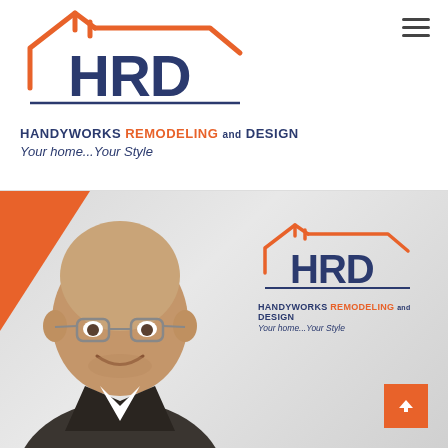[Figure (logo): HRD Handyworks Remodeling and Design logo with house roofline graphic in orange and navy blue]
HANDYWORKS REMODELING and DESIGN
Your home...Your Style
[Figure (photo): Photo of a smiling middle-aged bald man with glasses, wearing a suit, in front of a kitchen/home interior background. The HRD logo with tagline is overlaid on the right side of the image. An orange triangle decorates the upper left. A scroll-to-top button is in the lower right.]